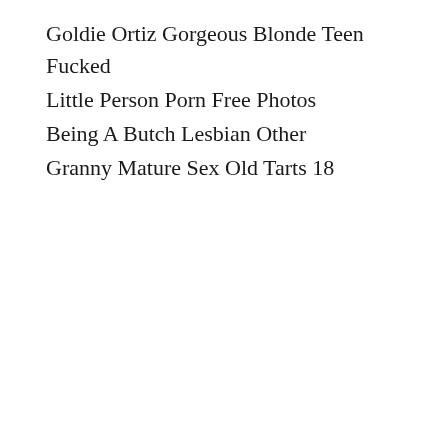Goldie Ortiz Gorgeous Blonde Teen Fucked
Little Person Porn Free Photos
Being A Butch Lesbian Other
Granny Mature Sex Old Tarts 18